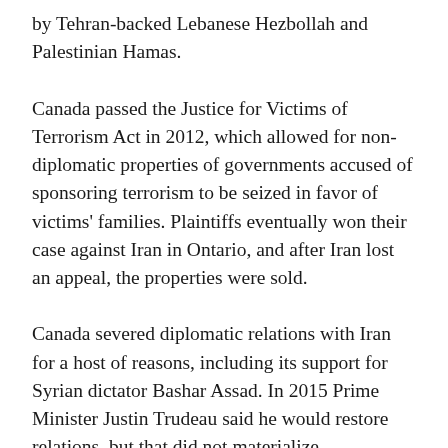by Tehran-backed Lebanese Hezbollah and Palestinian Hamas.
Canada passed the Justice for Victims of Terrorism Act in 2012, which allowed for non-diplomatic properties of governments accused of sponsoring terrorism to be seized in favor of victims' families. Plaintiffs eventually won their case against Iran in Ontario, and after Iran lost an appeal, the properties were sold.
Canada severed diplomatic relations with Iran for a host of reasons, including its support for Syrian dictator Bashar Assad. In 2015 Prime Minister Justin Trudeau said he would restore relations, but that did not materialize.